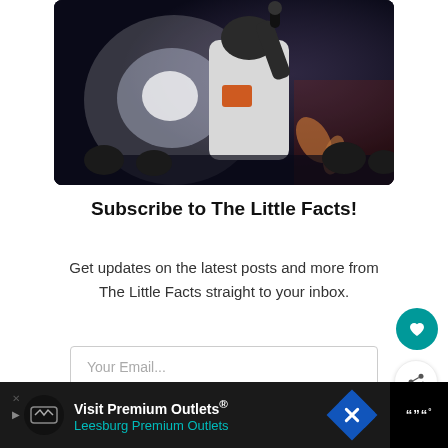[Figure (photo): Concert photo of a performer in a white hoodie holding a microphone, with bright stage lights and crowd in the background]
Subscribe to The Little Facts!
Get updates on the latest posts and more from The Little Facts straight to your inbox.
Your Email...
[Figure (screenshot): Advertisement banner: Visit Premium Outlets® Leesburg Premium Outlets, with logo and navigation arrow icon]